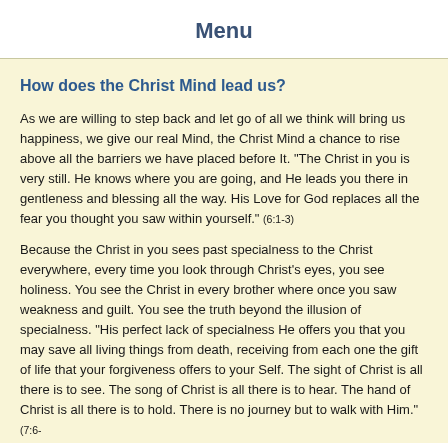Menu
How does the Christ Mind lead us?
As we are willing to step back and let go of all we think will bring us happiness, we give our real Mind, the Christ Mind a chance to rise above all the barriers we have placed before It. “The Christ in you is very still. He knows where you are going, and He leads you there in gentleness and blessing all the way. His Love for God replaces all the fear you thought you saw within yourself.” (6:1-3)
Because the Christ in you sees past specialness to the Christ everywhere, every time you look through Christ’s eyes, you see holiness. You see the Christ in every brother where once you saw weakness and guilt. You see the truth beyond the illusion of specialness. “His perfect lack of specialness He offers you that you may save all living things from death, receiving from each one the gift of life that your forgiveness offers to your Self. The sight of Christ is all there is to see. The song of Christ is all there is to hear. The hand of Christ is all there is to hold. There is no journey but to walk with Him.” (7:6-